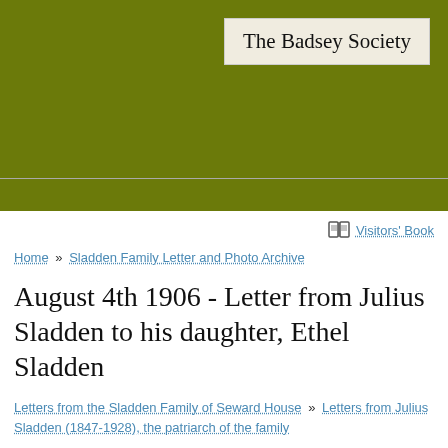[Figure (other): Olive/dark yellow-green banner header for The Badsey Society website, with logo box in top-right corner]
The Badsey Society
Visitors' Book
Home » Sladden Family Letter and Photo Archive
August 4th 1906 - Letter from Julius Sladden to his daughter, Ethel Sladden
Letters from the Sladden Family of Seward House » Letters from Julius Sladden (1847-1928), the patriarch of the family